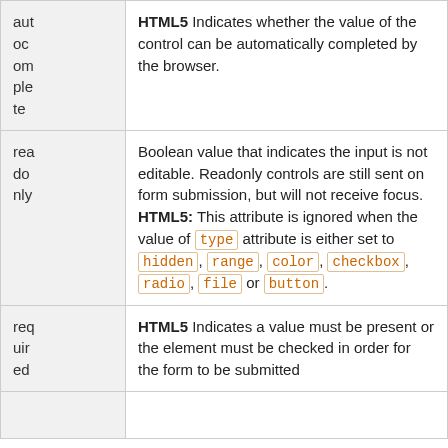| Attribute | Description |
| --- | --- |
| autocomplete | HTML5 Indicates whether the value of the control can be automatically completed by the browser. |
| readonly | Boolean value that indicates the input is not editable. Readonly controls are still sent on form submission, but will not receive focus. HTML5: This attribute is ignored when the value of type attribute is either set to hidden, range, color, checkbox, radio, file or button. |
| required | HTML5 Indicates a value must be present or the element must be checked in order for the form to be submitted |
|  |  |